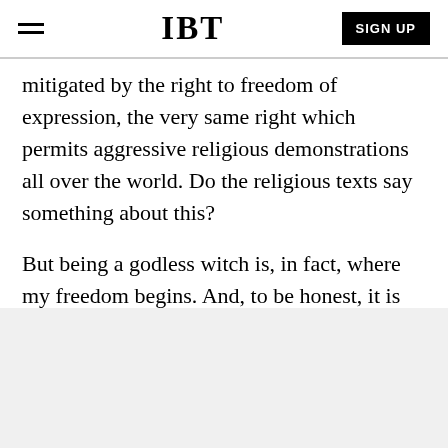IBT | SIGN UP
mitigated by the right to freedom of expression, the very same right which permits aggressive religious demonstrations all over the world. Do the religious texts say something about this?
But being a godless witch is, in fact, where my freedom begins. And, to be honest, it is where I draw my pleasure.